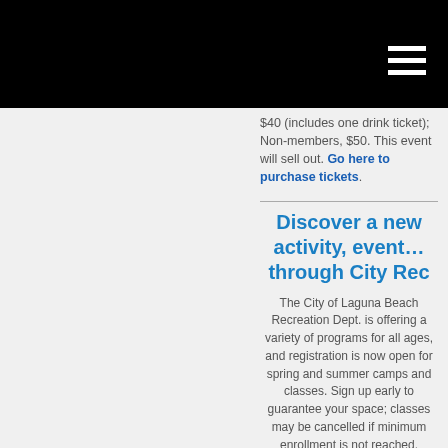$40 (includes one drink ticket); Non-members, $50. This event will sell out. Go here to purchase tickets.
Discover a new activity, event… through City Rec
The City of Laguna Beach Recreation Dept. is offering a variety of programs for all ages, and registration is now open for spring and summer camps and classes. Sign up early to guarantee your space; classes may be cancelled if minimum enrollment is not reached. Recreation Committee Scholarships are currently available to use toward classes. For an application, click here.
SUMMER CAMP ROUNDUP
There are myriad